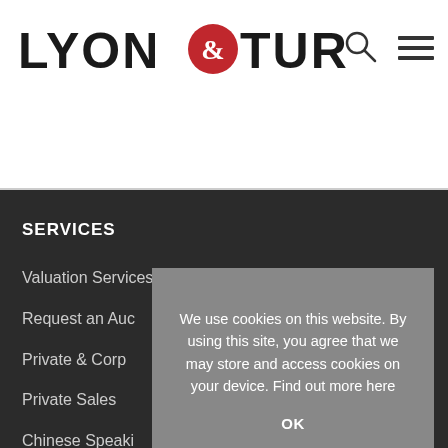[Figure (logo): Lyon & Turnbull logo with red circle ampersand icon]
[Figure (other): Search icon (magnifying glass) and hamburger menu icon in header]
SERVICES
Valuation Services
Request an Auc...
Private & Corp...
Private Sales
Chinese Speaki...
Events & Partn...
Art Graduate Award & Showcase
We use cookies on this website. By using this site, you agree that we may store and access cookies on your device. Find out more here
OK